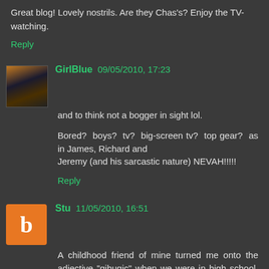Great blog! Lovely nostrils. Are they Chas's? Enjoy the TV-watching.
Reply
GirlBlue 09/05/2010, 17:23
and to think not a bogger in sight lol.
Bored? boys? tv? big-screen tv? top gear? as in James, Richard and
Jeremy (and his sarcastic nature) NEVAH!!!!!
Reply
Stu 11/05/2010, 16:51
A childhood friend of mine turned me onto the adjective "gihugic" when we were in high school, back in the early 80s. It's common now, relatively speaking, but at the time, I was sure he had coined it.
Anyway, what is the make/model of your gihugic tv?